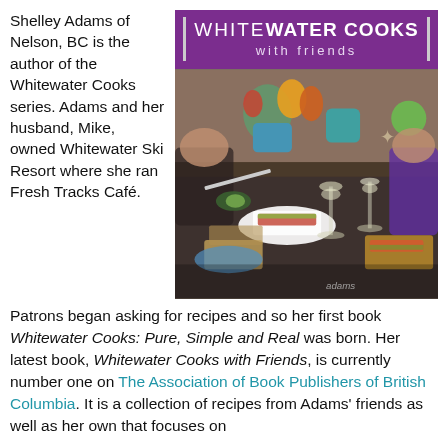Shelley Adams of Nelson, BC is the author of the Whitewater Cooks series. Adams and her husband, Mike, owned Whitewater Ski Resort where she ran Fresh Tracks Café.
[Figure (photo): Book cover and food photo for 'Whitewater Cooks with Friends' by Shelley Adams, showing the purple title bar and a kitchen scene with people preparing food, wine glasses, and colorful dishes.]
Patrons began asking for recipes and so her first book Whitewater Cooks: Pure, Simple and Real was born. Her latest book, Whitewater Cooks with Friends, is currently number one on The Association of Book Publishers of British Columbia. It is a collection of recipes from Adams' friends as well as her own that focuses on